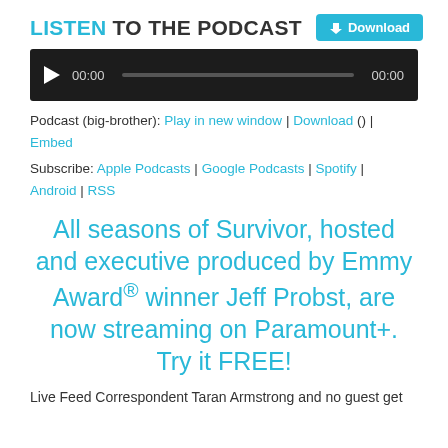LISTEN TO THE PODCAST  Download
[Figure (other): Audio player bar with play button, time 00:00, progress bar, and end time 00:00 on dark background]
Podcast (big-brother): Play in new window | Download () | Embed
Subscribe: Apple Podcasts | Google Podcasts | Spotify | Android | RSS
All seasons of Survivor, hosted and executive produced by Emmy Award® winner Jeff Probst, are now streaming on Paramount+. Try it FREE!
Live Feed Correspondent Taran Armstrong and no guest get